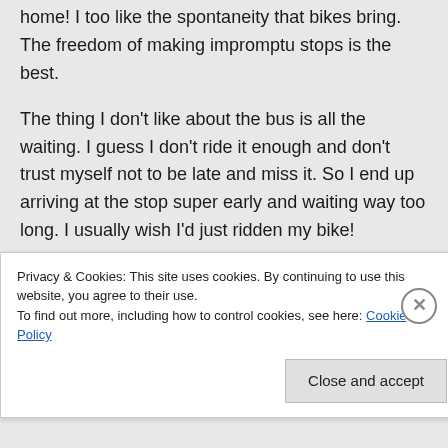home! I too like the spontaneity that bikes bring. The freedom of making impromptu stops is the best.
The thing I don't like about the bus is all the waiting. I guess I don't ride it enough and don't trust myself not to be late and miss it. So I end up arriving at the stop super early and waiting way too long. I usually wish I'd just ridden my bike!
We just got car2go in Seattle. I think it
Privacy & Cookies: This site uses cookies. By continuing to use this website, you agree to their use.
To find out more, including how to control cookies, see here: Cookie Policy
Close and accept